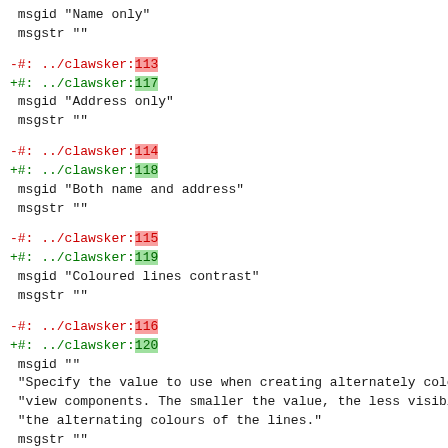msgid "Name only"
msgstr ""
-#: ../clawsker:113
+#: ../clawsker:117
 msgid "Address only"
 msgstr ""
-#: ../clawsker:114
+#: ../clawsker:118
 msgid "Both name and address"
 msgstr ""
-#: ../clawsker:115
+#: ../clawsker:119
 msgid "Coloured lines contrast"
 msgstr ""
-#: ../clawsker:116
+#: ../clawsker:120
 msgid ""
 "Specify the value to use when creating alternately coloure
 "view components. The smaller the value, the less visible t
 "the alternating colours of the lines."
 msgstr ""
-#: ../clawsker:117
+#: ../clawsker:121
 msgid "Show cursor"
 msgstr ""
-#: ../clawsker:118